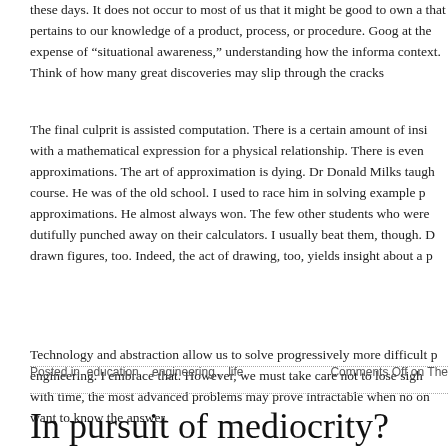these days. It does not occur to most of us that it might be good to own a that pertains to our knowledge of a product, process, or procedure. Goog at the expense of “situational awareness,” understanding how the informa context. Think of how many great discoveries may slip through the cracks
The final culprit is assisted computation. There is a certain amount of insi with a mathematical expression for a physical relationship. There is even approximations. The art of approximation is dying. Dr Donald Milks taugh course. He was of the old school. I used to race him in solving example p approximations. He almost always won. The few other students who were dutifully punched away on their calculators. I usually beat them, though. D drawn figures, too. Indeed, the act of drawing, too, yields insight about a p
Technology and abstraction allow us to solve progressively more difficult p engineering. I embrace that. However, we must take care not to lose sigh with time, the most advanced problems may prove intractable when no on want to know the answer.
Posted in  education ,  engineering ,  life     Comments Off on The
In pursuit of mediocrity?